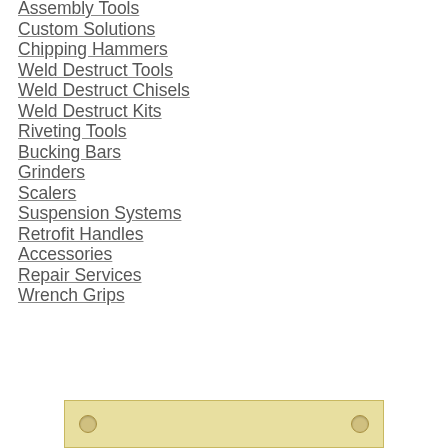Assembly Tools
Custom Solutions
Chipping Hammers
Weld Destruct Tools
Weld Destruct Chisels
Weld Destruct Kits
Riveting Tools
Bucking Bars
Grinders
Scalers
Suspension Systems
Retrofit Handles
Accessories
Repair Services
Wrench Grips
[Figure (photo): Partial view of a metallic or brass-colored bar/plate with rivet holes visible at each end, shown at the bottom of the page.]